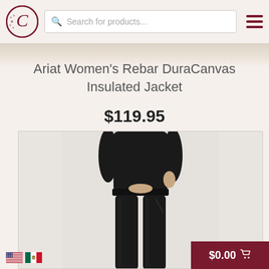Search for products...
Ariat Women's Rebar DuraCanvas Insulated Jacket
$119.95
[Figure (photo): Photo of a woman wearing black slim-fit pants/leggings, showing torso and legs, with one hand in side pocket. Product photo on light gray background.]
$0.00